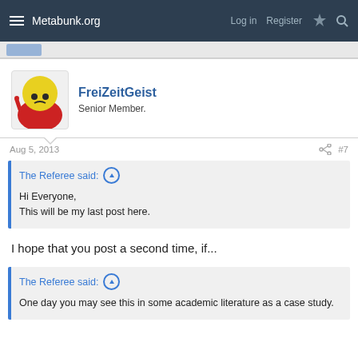Metabunk.org   Log in   Register
FreiZeitGeist
Senior Member.
Aug 5, 2013   #7
The Referee said: ↑
Hi Everyone,
This will be my last post here.
I hope that you post a second time, if...
The Referee said: ↑
One day you may see this in some academic literature as a case study.